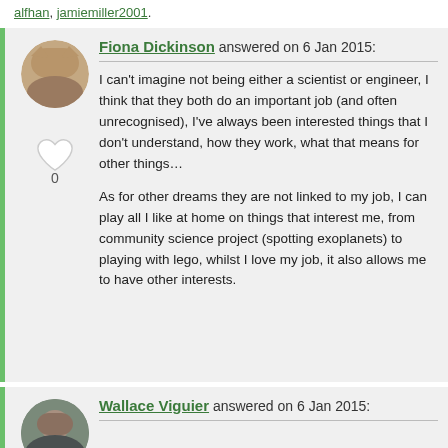alfhan, jamiemiller2001.
Fiona Dickinson answered on 6 Jan 2015:
I can't imagine not being either a scientist or engineer, I think that they both do an important job (and often unrecognised), I've always been interested things that I don't understand, how they work, what that means for other things…

As for other dreams they are not linked to my job, I can play all I like at home on things that interest me, from community science project (spotting exoplanets) to playing with lego, whilst I love my job, it also allows me to have other interests.
Wallace Viguier answered on 6 Jan 2015: